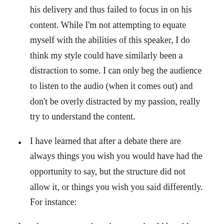his delivery and thus failed to focus in on his content. While I'm not attempting to equate myself with the abilities of this speaker, I do think my style could have similarly been a distraction to some. I can only beg the audience to listen to the audio (when it comes out) and don't be overly distracted by my passion, really try to understand the content.
I have learned that after a debate there are always things you wish you would have had the opportunity to say, but the structure did not allow it, or things you wish you said differently. For instance:
I made a comment about how we should humble ourselves like a child and Dr. White rebutted by sarcastically